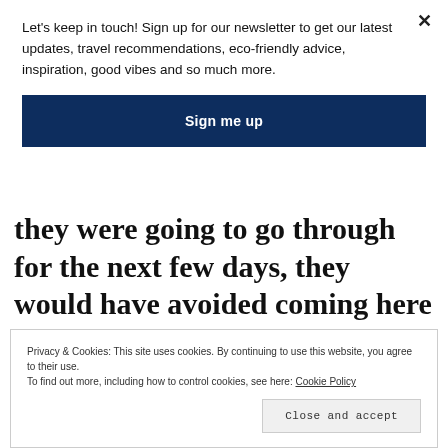Let's keep in touch! Sign up for our newsletter to get our latest updates, travel recommendations, eco-friendly advice, inspiration, good vibes and so much more.
Sign me up
they were going to go through for the next few days, they would have avoided coming here as well.
Privacy & Cookies: This site uses cookies. By continuing to use this website, you agree to their use. To find out more, including how to control cookies, see here: Cookie Policy
Close and accept